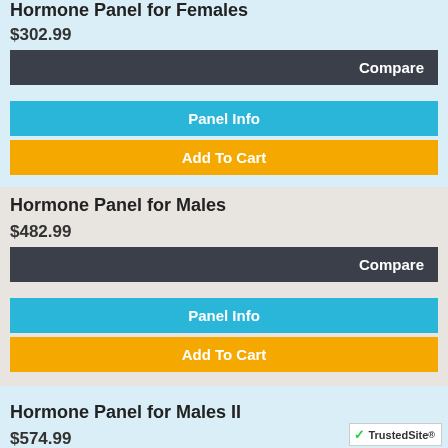Hormone Panel for Females
$302.99
Compare
Panel Info
Add To Cart
Hormone Panel for Males
$482.99
Compare
Panel Info
Add To Cart
Hormone Panel for Males II
$574.99
Compare
Panel Info
Add To Cart